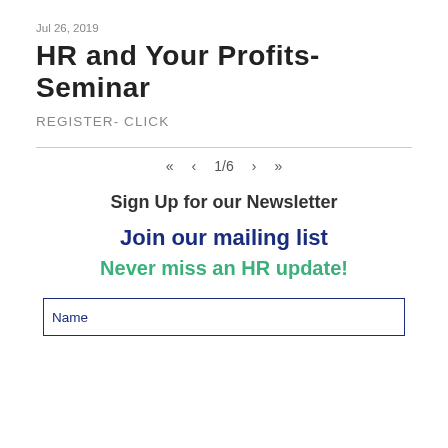Jul 26, 2019
HR and Your Profits- Seminar
REGISTER- CLICK
<< < 1/6 > >>
Sign Up for our Newsletter
Join our mailing list
Never miss an HR update!
Name